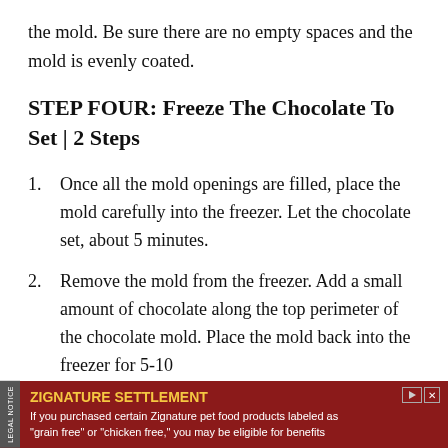the mold. Be sure there are no empty spaces and the mold is evenly coated.
STEP FOUR: Freeze The Chocolate To Set | 2 Steps
Once all the mold openings are filled, place the mold carefully into the freezer. Let the chocolate set, about 5 minutes.
Remove the mold from the freezer. Add a small amount of chocolate along the top perimeter of the chocolate mold. Place the mold back into the freezer for 5-10
[Figure (infographic): Advertisement banner for Zignature Settlement. Dark red background with legal notice sidebar. Text: ZIGNATURE SETTLEMENT - If you purchased certain Zignature pet food products labeled as grain free or chicken free, you may be eligible for benefits]